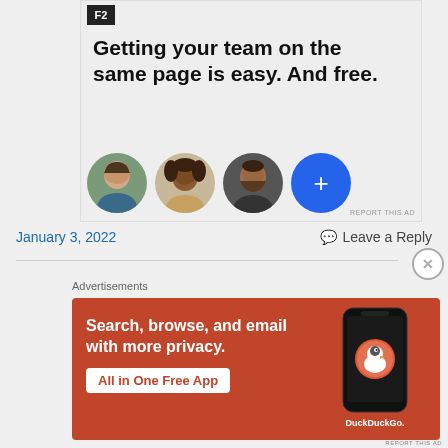[Figure (screenshot): Top advertisement for a project management or team collaboration tool (possibly Asana/similar) showing logo 'F2', bold headline 'Getting your team on the same page is easy. And free.' with circular avatar photos and a blue plus button. 'REPORT THIS AD' text in corner.]
January 3, 2022
Leave a Reply
Advertisements
[Figure (screenshot): DuckDuckGo advertisement on orange/red background: 'Search, browse, and email with more privacy. All in One Free App' with DuckDuckGo logo on a phone mockup.]